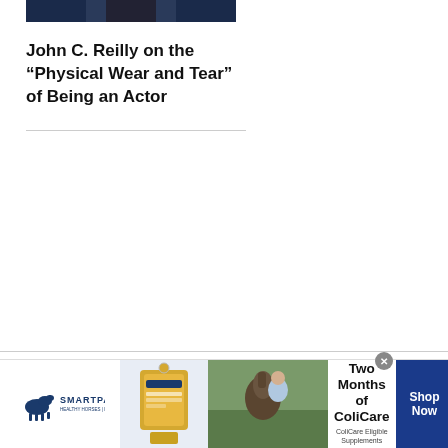[Figure (photo): Partial photo of John C. Reilly, dark background, person in dark suit visible at top]
John C. Reilly on the “Physical Wear and Tear” of Being an Actor
[Figure (infographic): SmartPak advertisement banner: 50% Off Two Months of ColiCare, ColiCare Eligible Supplements, CODE: COLICARE10. Shows SmartPak logo with horse icon, product image, horse and rider photo, and Shop Now blue button.]